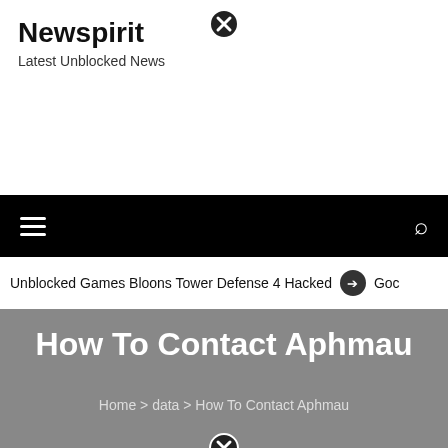Newspirit
Latest Unblocked News
[Figure (other): Close (X) button icon at top center]
Navigation bar with hamburger menu and search icon
Unblocked Games Bloons Tower Defense 4 Hacked  ❯  Goc
How To Contact Aphmau
Home > data > How To Contact Aphmau
[Figure (other): Close (X) button icon at bottom center]